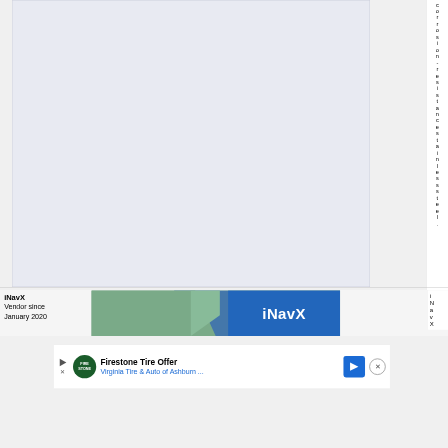[Figure (other): Light blue-grey rectangular content area, mostly empty/blank, occupying the left portion of the upper section of the page.]
corrosion-resistance stainless steel.
iNavX
Vendor since
January 2020
[Figure (photo): iNavX app screenshot/advertisement image showing a nautical chart map on the left and an iNavX branded blue banner on the right with the text 'iNavX' in white.]
iNavX
Firestone Tire Offer
Virginia Tire & Auto of Ashburn ...